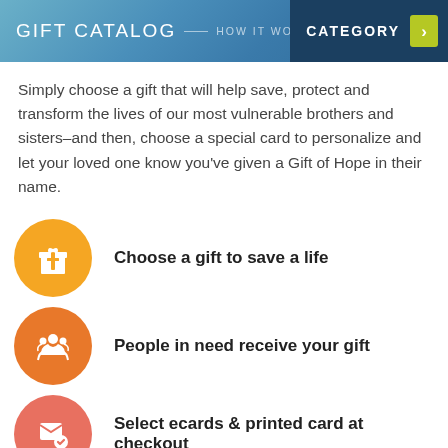GIFT CATALOG — HOW IT WORKS — CATEGORY
Simply choose a gift that will help save, protect and transform the lives of our most vulnerable brothers and sisters–and then, choose a special card to personalize and let your loved one know you've given a Gift of Hope in their name.
Choose a gift to save a life
People in need receive your gift
Select ecards & printed card at checkout